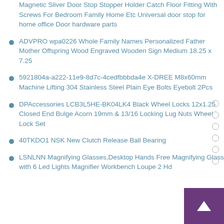Magnetic Sliver Door Stop Stopper Holder Catch Floor Fitting With Screws For Bedroom Family Home Etc Universal door stop for home office Door hardware parts
ADVPRO wpa0226 Whole Family Names Personalized Father Mother Offspring Wood Engraved Wooden Sign Medium 18.25 x 7.25
5921804a-a222-11e9-8d7c-4cedfbbbda4e X-DREE M8x60mm Machine Lifting 304 Stainless Steel Plain Eye Bolts Eyebolt 2Pcs
DPAccessories LCB3L5HE-BK04LK4 Black Wheel Locks 12x1.25 Closed End Bulge Acorn 19mm & 13/16 Locking Lug Nuts Wheel Lock Set
40TKDO1 NSK New Clutch Release Ball Bearing
LSNLNN Magnifying Glasses,Desktop Hands Free Magnifying Glass with 6 Led Lights Magnifier Workbench Loupe 2 Hd